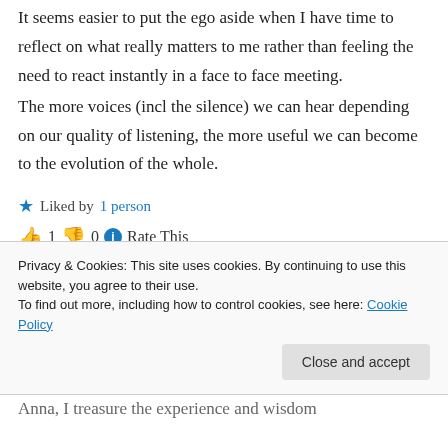It seems easier to put the ego aside when I have time to reflect on what really matters to me rather than feeling the need to react instantly in a face to face meeting.
The more voices (incl the silence) we can hear depending on our quality of listening, the more useful we can become to the evolution of the whole.
★ Liked by 1 person
👍 1 👎 0 ℹ Rate This
Privacy & Cookies: This site uses cookies. By continuing to use this website, you agree to their use. To find out more, including how to control cookies, see here: Cookie Policy
Anna, I treasure the experience and wisdom